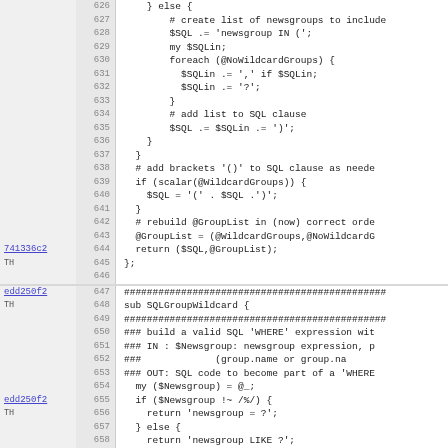[Figure (screenshot): Source code viewer showing lines 626-658 of a Perl script with commit annotations (741336c2 TH and edd250f2 TH) in the left margin, line numbers in gray, and code content on white background. The code implements SQL group wildcard logic.]